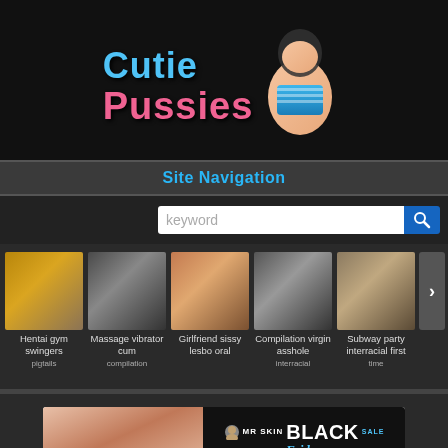[Figure (logo): CutiePussies website logo with stylized text and cartoon illustration]
Site Navigation
[Figure (screenshot): Search bar with keyword placeholder and blue search button]
[Figure (screenshot): Thumbnail gallery row with 5 video thumbnails and captions: Hentai gym swingers, Massage vibrator cum compilation, Girlfriend sissy lesbo oral, Compilation virgin asshole, Subway party interracial first time]
[Figure (infographic): MR SKIN Black Friday Sale advertisement - Lifetime Membership $99]
POV shaved wet amateur